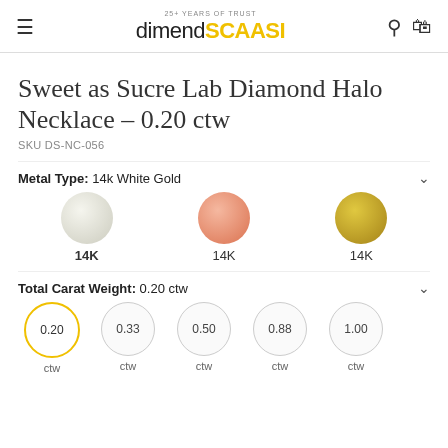dimendSCAASI — 25+ YEARS OF TRUST
Sweet as Sucre Lab Diamond Halo Necklace – 0.20 ctw
SKU DS-NC-056
Metal Type: 14k White Gold
14K White Gold, 14K Rose Gold, 14K Yellow Gold
Total Carat Weight: 0.20 ctw
0.20 ctw, 0.33 ctw, 0.50 ctw, 0.88 ctw, 1.00 ctw